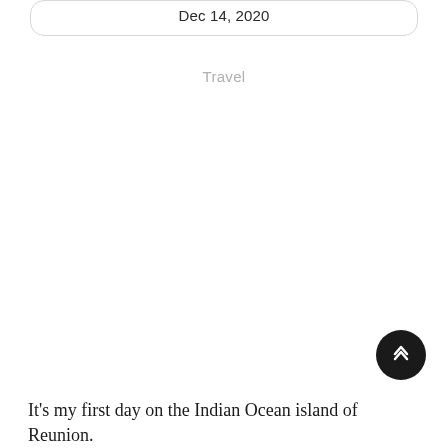Dec 14, 2020
Travel
It's my first day on the Indian Ocean island of Reunion.